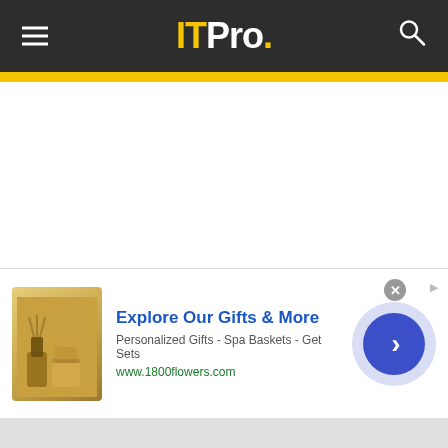ITPro.
The next important milestone in HPC came with the Cray X-MP in 1984. Like the Cray-1, it had a vector architecture, but where it broke new ground was in
[Figure (screenshot): Advertisement banner for 1800flowers.com showing gift products, headline 'Explore Our Gifts & More', subtext 'Personalized Gifts - Spa Baskets - Get Sets', URL 'www.1800flowers.com', and a blue circular arrow button.]